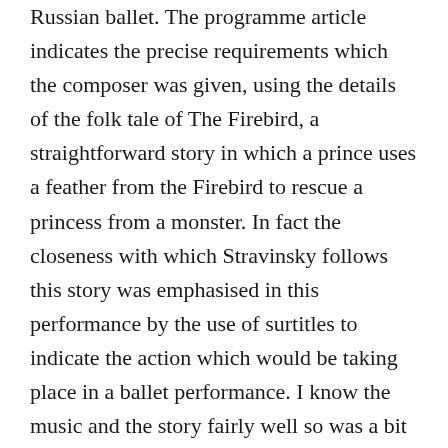Russian ballet. The programme article indicates the precise requirements which the composer was given, using the details of the folk tale of The Firebird, a straightforward story in which a prince uses a feather from the Firebird to rescue a princess from a monster. In fact the closeness with which Stravinsky follows this story was emphasised in this performance by the use of surtitles to indicate the action which would be taking place in a ballet performance. I know the music and the story fairly well so was a bit conflicted about this, as I found the words on screen a little distracting, but overall I think it's a positive way of enabling the audience to create their own images of the action. Of course for